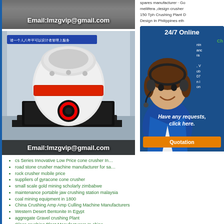[Figure (photo): Top image strip with Email:lmzgvip@gmail.com text overlay, showing industrial machinery]
[Figure (photo): Industrial cone crusher machine in a factory setting with Email:lmzgvip@gmail.com overlay text]
spares manufacturer · Go mellifera ,design crusher 150 Tph Crushing Plant D Design In Philippines eth
[Figure (infographic): 24/7 Online chat box with customer service representative photo, Have any requests click here text, and Quotation button]
cs Series Innovative Low Price cone crusher In
road stone crusher machine manufacturer for sa
rock crusher mobile price
suppliers of gyracone cone crusher
small scale gold mining scholarly zimbabwe
maintenance portable jaw crushing station malaysia
coal mining equipment in 1800
China Crushing Amp Amp Culling Machine Manufacturers
Western Desert Bentonite In Egypt
aggregate Gravel crushing Plant
Glass crushing Plant Manufacturers In china
how to design a rotating vibrating feeder
Clinker mill Isaacs New Zealand